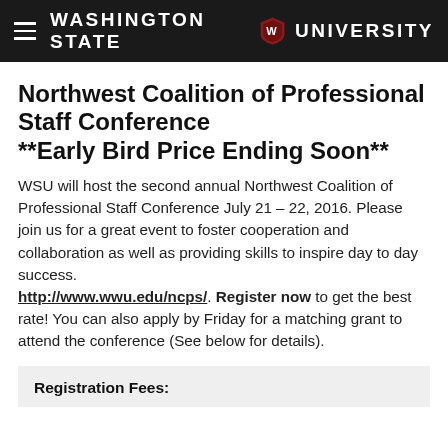Washington State University
Northwest Coalition of Professional Staff Conference **Early Bird Price Ending Soon**
WSU will host the second annual Northwest Coalition of Professional Staff Conference July 21 – 22, 2016. Please join us for a great event to foster cooperation and collaboration as well as providing skills to inspire day to day success. http://www.wwu.edu/ncps/. Register now to get the best rate! You can also apply by Friday for a matching grant to attend the conference (See below for details).
Registration Fees: